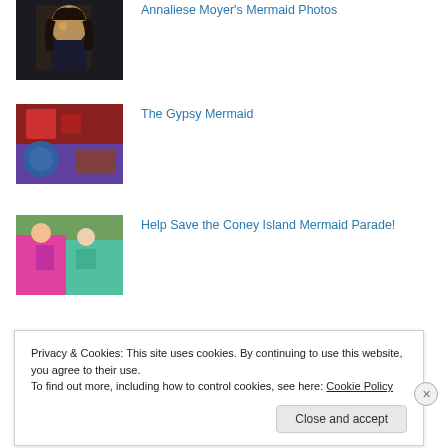[Figure (photo): Thumbnail of person with dark hair and dark background – Annaliese Moyer's Mermaid Photos]
Annaliese Moyer's Mermaid Photos
[Figure (photo): Colorful mural or street art in red and blue tones – The Gypsy Mermaid]
The Gypsy Mermaid
[Figure (photo): Crowd scene with people in bright pink and teal costumes – Help Save the Coney Island Mermaid Parade!]
Help Save the Coney Island Mermaid Parade!
Privacy & Cookies: This site uses cookies. By continuing to use this website, you agree to their use.
To find out more, including how to control cookies, see here: Cookie Policy
Close and accept